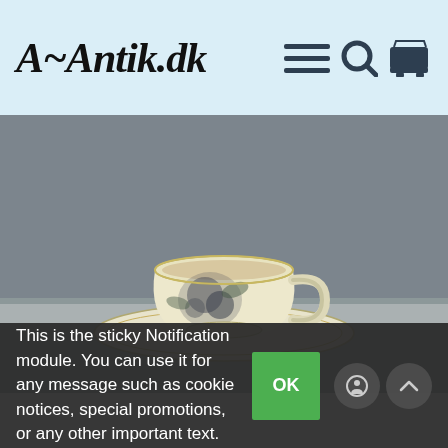A~Antik.dk
[Figure (photo): A cream-colored ceramic teacup with a hand-painted dark floral (rose) motif and silver rim, sitting on a matching saucer, photographed on a marble surface against a grey wall.]
This is the sticky Notification module. You can use it for any message such as cookie notices, special promotions, or any other important text.